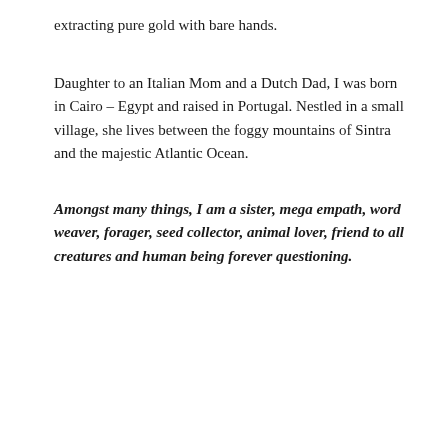extracting pure gold with bare hands.
Daughter to an Italian Mom and a Dutch Dad, I was born in Cairo – Egypt and raised in Portugal. Nestled in a small village, she lives between the foggy mountains of Sintra and the majestic Atlantic Ocean.
Amongst many things, I am a sister, mega empath, word weaver, forager, seed collector, animal lover, friend to all creatures and human being forever questioning.